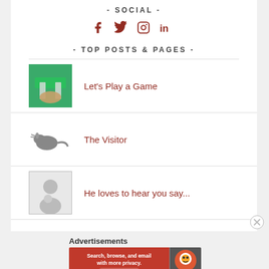- SOCIAL -
[Figure (infographic): Social media icons: Facebook, Twitter, Instagram, LinkedIn in dark red/maroon color]
- TOP POSTS & PAGES -
Let's Play a Game
The Visitor
He loves to hear you say...
Advertisements
[Figure (screenshot): DuckDuckGo advertisement banner: 'Search, browse, and email with more privacy. All in One Free App' with DuckDuckGo logo]